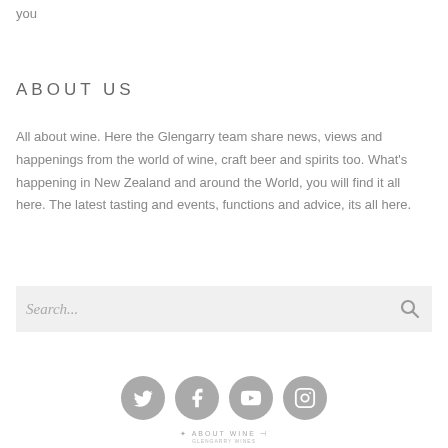you
ABOUT US
All about wine. Here the Glengarry team share news, views and happenings from the world of wine, craft beer and spirits too. What's happening in New Zealand and around the World, you will find it all here. The latest tasting and events, functions and advice, its all here.
[Figure (other): Search bar with search icon and placeholder text 'Search...']
[Figure (other): Four social media icons: Twitter, Facebook, YouTube, Instagram — grey circles]
ABOUT WINE